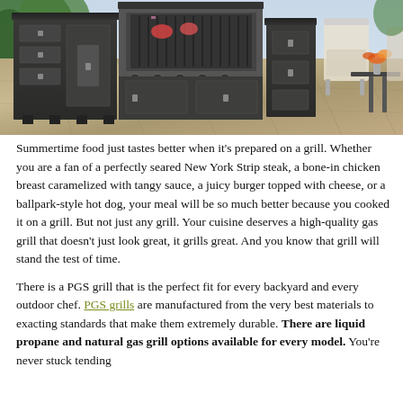[Figure (photo): Outdoor kitchen with dark cabinets, built-in grill and appliances on a stone tile patio, with patio furniture and flowers in the background.]
Summertime food just tastes better when it's prepared on a grill. Whether you are a fan of a perfectly seared New York Strip steak, a bone-in chicken breast caramelized with tangy sauce, a juicy burger topped with cheese, or a ballpark-style hot dog, your meal will be so much better because you cooked it on a grill. But not just any grill. Your cuisine deserves a high-quality gas grill that doesn't just look great, it grills great. And you know that grill will stand the test of time.
There is a PGS grill that is the perfect fit for every backyard and every outdoor chef. PGS grills are manufactured from the very best materials to exacting standards that make them extremely durable. There are liquid propane and natural gas grill options available for every model. You're never stuck tending